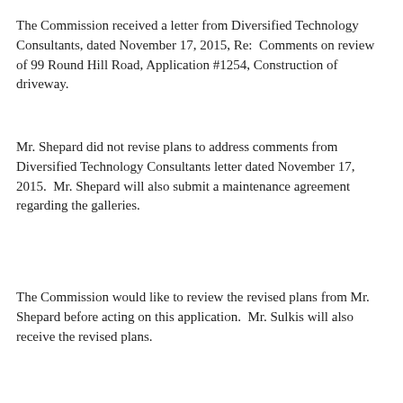The Commission received a letter from Diversified Technology Consultants, dated November 17, 2015, Re:  Comments on review of 99 Round Hill Road, Application #1254, Construction of driveway.
Mr. Shepard did not revise plans to address comments from Diversified Technology Consultants letter dated November 17, 2015.  Mr. Shepard will also submit a maintenance agreement regarding the galleries.
The Commission would like to review the revised plans from Mr. Shepard before acting on this application.  Mr. Sulkis will also receive the revised plans.